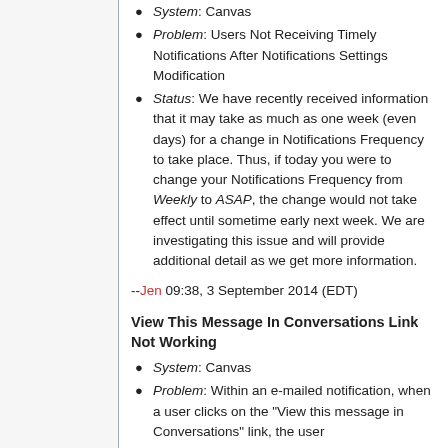System: Canvas
Problem: Users Not Receiving Timely Notifications After Notifications Settings Modification
Status: We have recently received information that it may take as much as one week (even days) for a change in Notifications Frequency to take place. Thus, if today you were to change your Notifications Frequency from Weekly to ASAP, the change would not take effect until sometime early next week. We are investigating this issue and will provide additional detail as we get more information.
--Jen 09:38, 3 September 2014 (EDT)
View This Message In Conversations Link Not Working
System: Canvas
Problem: Within an e-mailed notification, when a user clicks on the "View this message in Conversations" link, the user